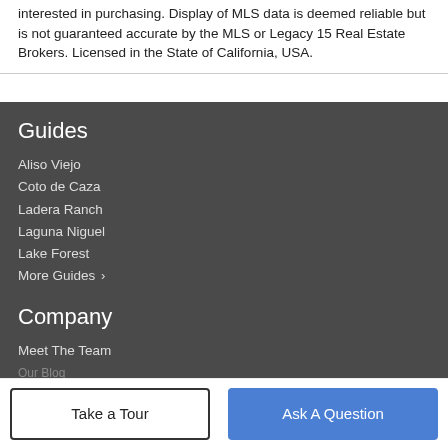interested in purchasing. Display of MLS data is deemed reliable but is not guaranteed accurate by the MLS or Legacy 15 Real Estate Brokers. Licensed in the State of California, USA.
Guides
Aliso Viejo
Coto de Caza
Ladera Ranch
Laguna Niguel
Lake Forest
More Guides ›
Company
Meet The Team
Our Blog
Take a Tour
Ask A Question